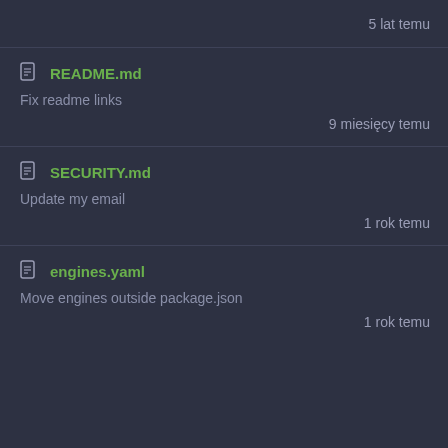5 lat temu
README.md — Fix readme links — 9 miesięcy temu
SECURITY.md — Update my email — 1 rok temu
engines.yaml — Move engines outside package.json — 1 rok temu